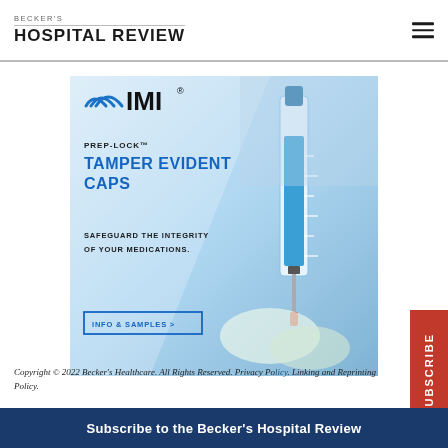BECKER'S HOSPITAL REVIEW
[Figure (illustration): IMI Prep-Lock Tamper Evident Caps advertisement showing a syringe and medical imagery with text: PREP-LOCK TM TAMPER EVIDENT CAPS. SAFEGUARD THE INTEGRITY OF YOUR MEDICATIONS. INFO & SAMPLES >]
Copyright © 2022 Becker's Healthcare. All Rights Reserved. Privacy Policy. Linking and Reprinting Policy.
Subscribe to the Becker's Hospital Review